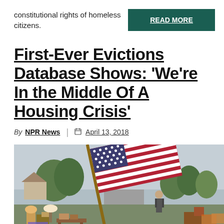constitutional rights of homeless citizens.
READ MORE
First-Ever Evictions Database Shows: 'We're In the Middle Of A Housing Crisis'
By NPR News | April 13, 2018
[Figure (photo): A large American flag waves over household belongings piled outside during an eviction scene, with trees and houses visible in the background and people standing among the items.]